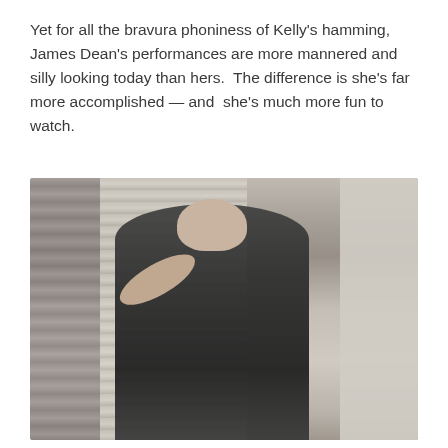Yet for all the bravura phoniness of Kelly's hamming, James Dean's performances are more mannered and silly looking today than hers.  The difference is she's far more accomplished — and  she's much more fun to watch.
[Figure (photo): Black and white film still of a woman in dark clothing with her hand raised near her face, appearing to be in a mid-century interior setting with curtains and furniture visible in the background.]